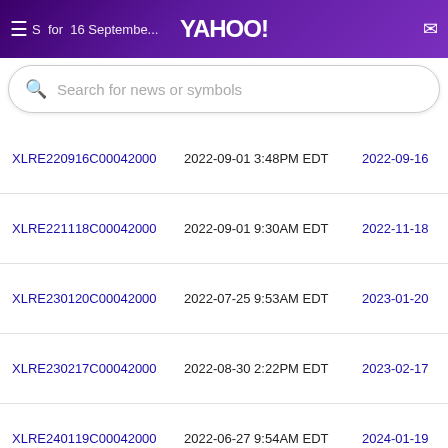S for 16 September — YAHOO! (mail icon)
[Figure (screenshot): Yahoo Finance search bar with placeholder text 'Search for news or symbols']
| Symbol | Last Trade Date | Expiration |
| --- | --- | --- |
| XLRE220916C00042000 | 2022-09-01 3:48PM EDT | 2022-09-16 |
| XLRE221118C00042000 | 2022-09-01 9:30AM EDT | 2022-11-18 |
| XLRE230120C00042000 | 2022-07-25 9:53AM EDT | 2023-01-20 |
| XLRE230217C00042000 | 2022-08-30 2:22PM EDT | 2023-02-17 |
| XLRE240119C00042000 | 2022-06-27 9:54AM EDT | 2024-01-19 |